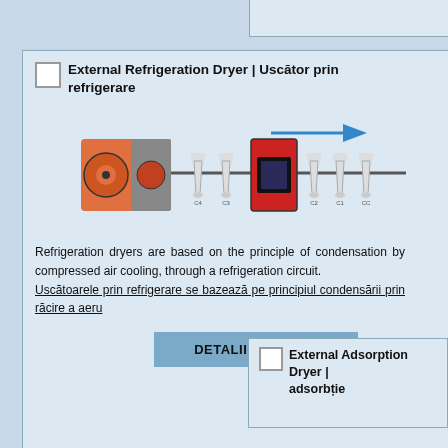External Refrigeration Dryer | Uscător prin refrigerare
[Figure (schematic): Diagram of external refrigeration dryer system showing compressor unit connected via pipe to a series of filter/dryer components with a red refrigeration dryer unit in the middle, and a blue arrow indicating airflow direction.]
Refrigeration dryers are based on the principle of condensation by compressed air cooling, through a refrigeration circuit. Uscătoarele prin refrigerare se bazează pe principiul condensării prin răcire a aerului comprimat, printr-un circuit de refrigerare.
DETALII | DETAILS
External Adsorption Dryer | Uscător prin adsorbție
[Figure (schematic): Partial diagram of external adsorption dryer system showing compressor unit and filter components.]
Desiccant material is used to attract compressed air via adsorbtion.